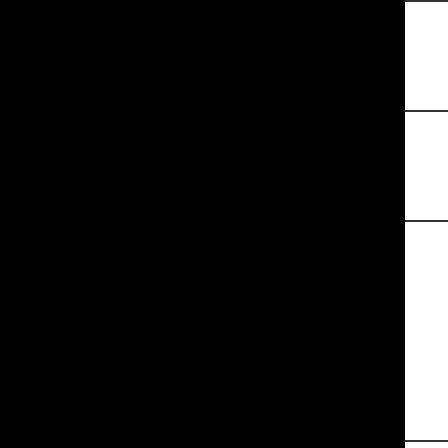| Date | City | Event |
| --- | --- | --- |
| February 26, 2017 | Buffalo | Chilly Challenge |
| February 26, 2017 | Olcott | Polar Bear |
| February 26, 2017 | Orlando, FL | Disney Princess Half Marathon (BUFFALO RUNNERS) |
| February 26, 2017 | Orlando, FL | Disney Princess 1 (BUFFALO RUNNERS) |
| February 20, 2017 | Glenwood | Jackrabbit Snowshoe Race #5 (Long) |
| February 20, 2017 | Glenwood | Jackrabbit Snowshoe Race #5 (Short) |